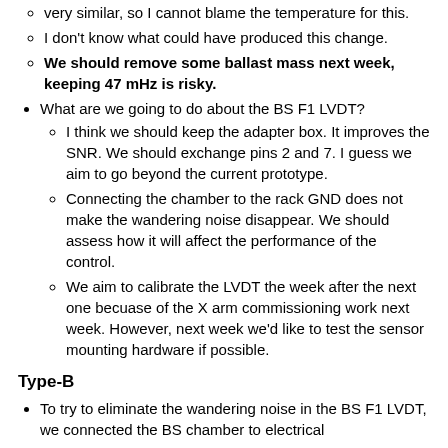very similar, so I cannot blame the temperature for this.
I don't know what could have produced this change.
We should remove some ballast mass next week, keeping 47 mHz is risky.
What are we going to do about the BS F1 LVDT?
I think we should keep the adapter box. It improves the SNR. We should exchange pins 2 and 7. I guess we aim to go beyond the current prototype.
Connecting the chamber to the rack GND does not make the wandering noise disappear. We should assess how it will affect the performance of the control.
We aim to calibrate the LVDT the week after the next one becuase of the X arm commissioning work next week. However, next week we'd like to test the sensor mounting hardware if possible.
Type-B
To try to eliminate the wandering noise in the BS F1 LVDT, we connected the BS chamber to electrical